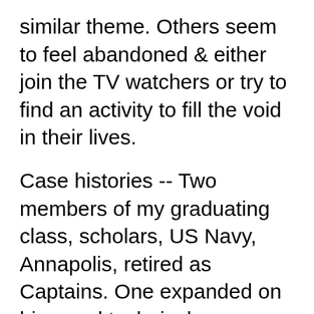similar theme. Others seem to feel abandoned & either join the TV watchers or try to find an activity to fill the void in their lives.
Case histories -- Two members of my graduating class, scholars, US Navy, Annapolis, retired as Captains. One expanded on his naval technical knowledge & founded a business & a new different life. The other went the other way, failing at every attempt & passing 20 years ago. ME? No scholar, highschool grad, started cleaning airplane parts, kept myself busy in all directions.